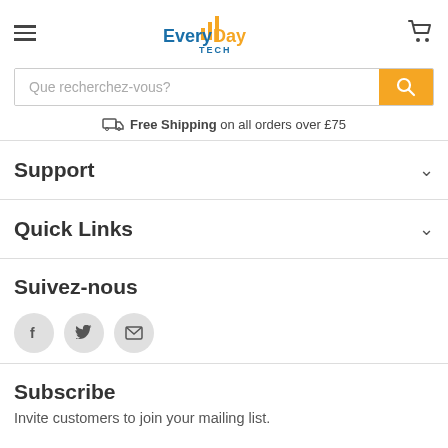[Figure (logo): EveryDay Tech logo with orange signal bars graphic and blue/orange text]
Que recherchez-vous?
Free Shipping on all orders over £75
Support
Quick Links
Suivez-nous
[Figure (illustration): Social media icons: Facebook, Twitter, Email]
Subscribe
Invite customers to join your mailing list.